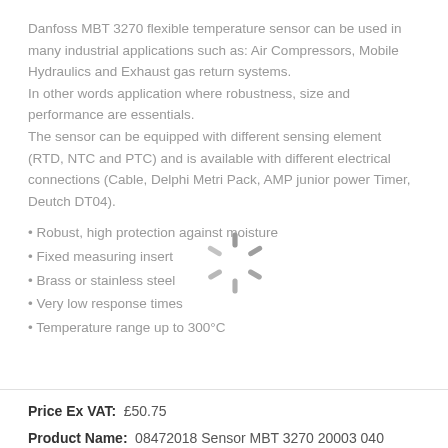Danfoss MBT 3270 flexible temperature sensor can be used in many industrial applications such as: Air Compressors, Mobile Hydraulics and Exhaust gas return systems. In other words application where robustness, size and performance are essentials. The sensor can be equipped with different sensing element (RTD, NTC and PTC) and is available with different electrical connections (Cable, Delphi Metri Pack, AMP junior power Timer, Deutch DT04).
[Figure (other): Loading spinner graphic overlay]
Robust, high protection against moisture
Fixed measuring insert
Brass or stainless steel
Very low response times
Temperature range up to 300°C
Price Ex VAT:  £50.75
Product Name:  08472018 Sensor MBT 3270 20003 040